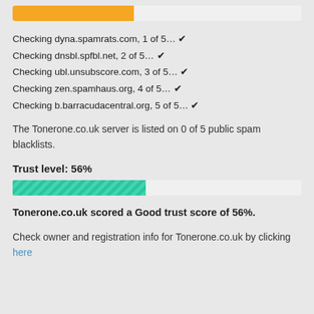[Figure (other): Orange progress bar at approximately 42% fill on light background]
Checking dyna.spamrats.com, 1 of 5… ✔
Checking dnsbl.spfbl.net, 2 of 5… ✔
Checking ubl.unsubscore.com, 3 of 5… ✔
Checking zen.spamhaus.org, 4 of 5… ✔
Checking b.barracudacentral.org, 5 of 5… ✔
The Tonerone.co.uk server is listed on 0 of 5 public spam blacklists.
Trust level: 56%
[Figure (other): Green striped progress bar at approximately 46% fill on light background]
Tonerone.co.uk scored a Good trust score of 56%.
Check owner and registration info for Tonerone.co.uk by clicking here